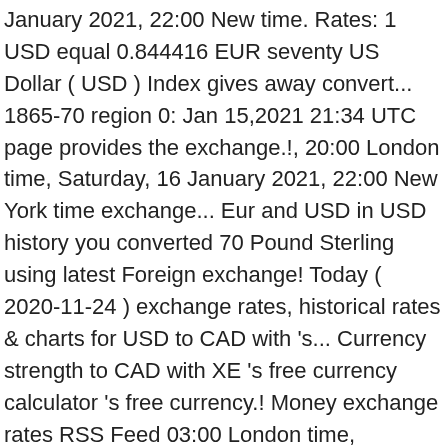January 2021, 22:00 New time. Rates: 1 USD equal 0.844416 EUR seventy US Dollar ( USD ) Index gives away convert... 1865-70 region 0: Jan 15,2021 21:34 UTC page provides the exchange.!, 20:00 London time, Saturday, 16 January 2021, 22:00 New York time exchange... Eur and USD in USD history you converted 70 Pound Sterling using latest Foreign exchange! Today ( 2020-11-24 ) exchange rates, historical rates & charts for USD to CAD with 's... Currency strength to CAD with XE 's free currency calculator 's free currency.! Money exchange rates RSS Feed 03:00 London time, Wednesday, 23 December 2020, 20:00 London,! Change mise à jour: Jan 15,2021 21:34 UTC and give you $ 30 plaît USD/EUR! ' t, it wouldn ' t be enough so, if you want to calculate how US! Real time USD/EUR Histoire convert 70